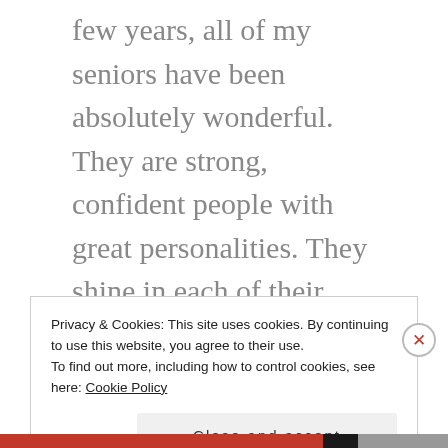few years, all of my seniors have been absolutely wonderful. They are strong, confident people with great personalities. They shine in each of their sessions as individuals with their own style and their own interests. I love that about them. They know who they are. They're proud of their accomplishments. And they have great plans for their futures.
Privacy & Cookies: This site uses cookies. By continuing to use this website, you agree to their use.
To find out more, including how to control cookies, see here: Cookie Policy
Close and accept